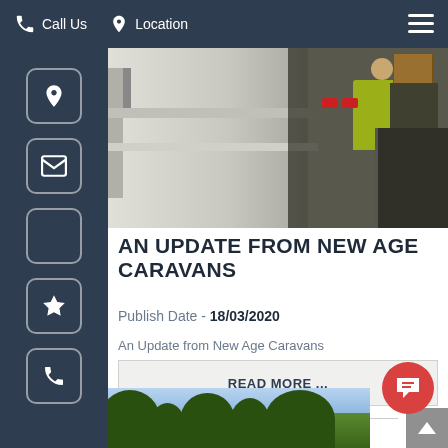Call Us  Location
[Figure (photo): Person in yellow high-vis jacket working on or near caravans in a warehouse/workshop setting]
AN UPDATE FROM NEW AGE CARAVANS
Publish Date - 18/03/2020
An Update from New Age Caravans
READ MORE ...
[Figure (photo): Outdoor scene with trees and sky, bottom strip of next article]